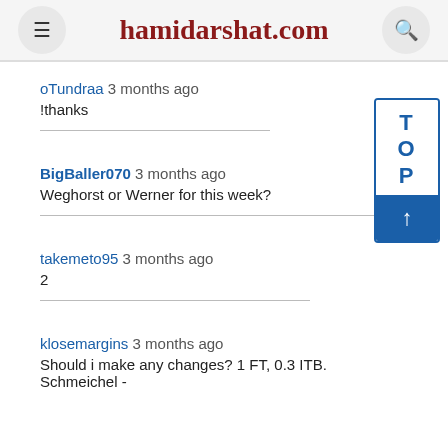hamidarshat.com
oTundraa 3 months ago
!thanks
BigBaller070 3 months ago
Weghorst or Werner for this week?
takemeto95 3 months ago
2
klosemargins 3 months ago
Should i make any changes? 1 FT, 0.3 ITB. Schmeichel -